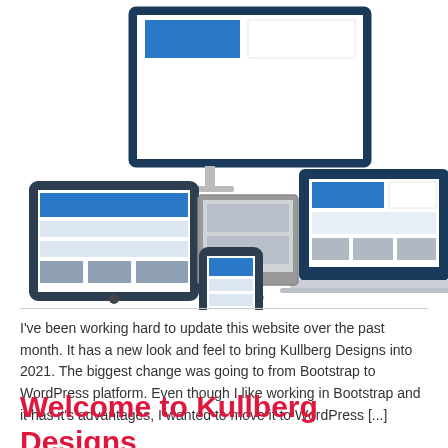[Figure (illustration): Illustration of responsive web design showing a desktop monitor, laptop, tablet, and smartphone each displaying a website layout with blue header bars, content blocks, and gray placeholder elements.]
I've been working hard to update this website over the past month. It has a new look and feel to bring Kullberg Designs into 2021. The biggest change was going to from Bootstrap to WordPress platform. Even though I like working in Bootstrap and it has it's advantages, I wanted to move it to WordPress [...]
Welcome to Kullberg Designs